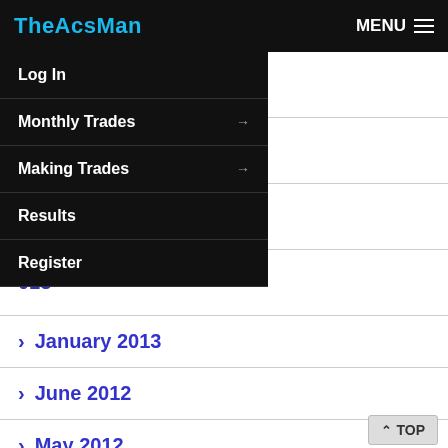TheAcsMan | MENU
Log In
Monthly Trades →
Making Trades →
Results
Register
> January 2013
> June 2012
> May 2012
> April 2012
> March 2012
> February 2012
> January 2012